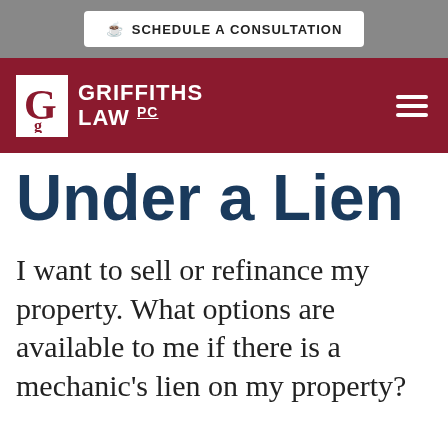SCHEDULE A CONSULTATION
[Figure (logo): Griffiths Law PC logo — white icon on dark crimson navigation bar with hamburger menu]
Under a Lien
I want to sell or refinance my property. What options are available to me if there is a mechanic's lien on my property?